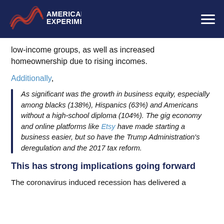American Experiment
low-income groups, as well as increased homeownership due to rising incomes.
Additionally,
As significant was the growth in business equity, especially among blacks (138%), Hispanics (63%) and Americans without a high-school diploma (104%). The gig economy and online platforms like Etsy have made starting a business easier, but so have the Trump Administration's deregulation and the 2017 tax reform.
This has strong implications going forward
The coronavirus induced recession has delivered a